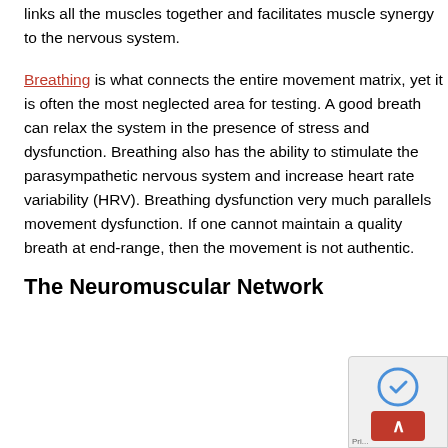links all the muscles together and facilitates muscle synergy to the nervous system.
Breathing is what connects the entire movement matrix, yet it is often the most neglected area for testing. A good breath can relax the system in the presence of stress and dysfunction. Breathing also has the ability to stimulate the parasympathetic nervous system and increase heart rate variability (HRV). Breathing dysfunction very much parallels movement dysfunction. If one cannot maintain a quality breath at end-range, then the movement is not authentic.
The Neuromuscular Network